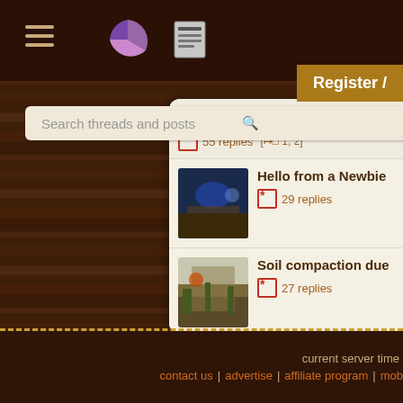[Figure (screenshot): Navigation bar with hamburger menu, pie chart icon, and news feed icon on dark brown background]
[Figure (screenshot): Register button in golden-brown color]
[Figure (screenshot): Search bar with placeholder text 'Search threads and posts']
What's wrong with M
55 replies [→□ 1, 2]
[Figure (photo): Blue-tinted scene thumbnail for Hello from a Newbie thread]
Hello from a Newbie
29 replies
[Figure (photo): Forest/outdoor scene thumbnail for Soil compaction thread]
Soil compaction due
27 replies
[Figure (photo): Yellow podcast thumbnail with text PenMes.com]
Podcast 032 - Helen
7 replies
current server time | contact us | advertise | affiliate program | mob